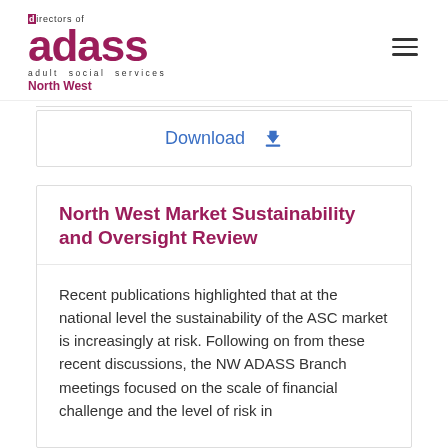[Figure (logo): ADASS North West logo – 'directors of adass adult social services North West' with magenta/crimson branding]
Download ⬇
North West Market Sustainability and Oversight Review
Recent publications highlighted that at the national level the sustainability of the ASC market is increasingly at risk. Following on from these recent discussions, the NW ADASS Branch meetings focused on the scale of financial challenge and the level of risk in